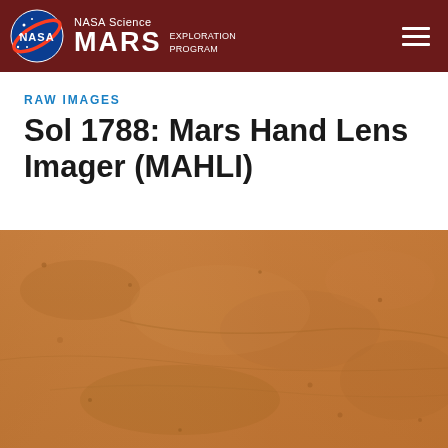NASA Science MARS EXPLORATION PROGRAM
RAW IMAGES
Sol 1788: Mars Hand Lens Imager (MAHLI)
[Figure (photo): Close-up photo of Mars surface terrain showing reddish-brown sandy/dusty ground with subtle texture variations and faint linear marks or ridges visible across the surface.]